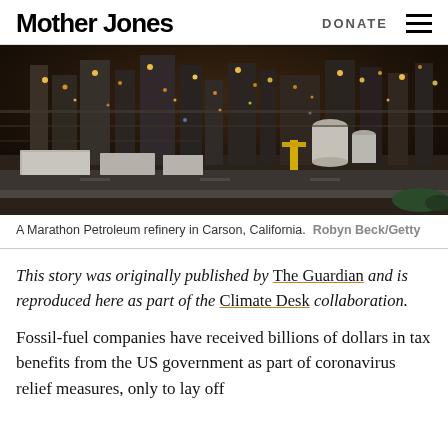Mother Jones | DONATE
[Figure (photo): Aerial night view of a Marathon Petroleum refinery in Carson, California, with illuminated pipes and industrial structures.]
A Marathon Petroleum refinery in Carson, California. Robyn Beck/Getty
This story was originally published by The Guardian and is reproduced here as part of the Climate Desk collaboration.
Fossil-fuel companies have received billions of dollars in tax benefits from the US government as part of coronavirus relief measures, only to lay off